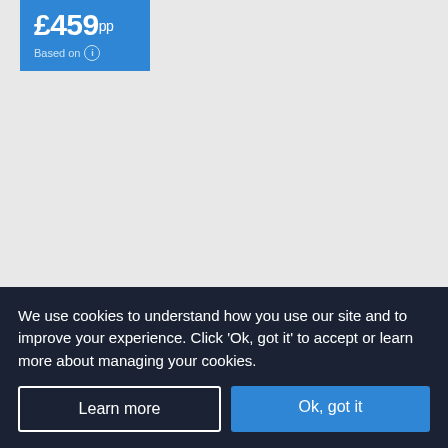£459pp Based on
Aminess Port9 Hotel
Korcula Island, Dubrovnik Area
[Figure (other): Three blue stars rating]
Our rating    Based on 364 reviews
We use cookies to understand how you use our site and to improve your experience. Click 'Ok, got it' to accept or learn more about managing your cookies.
Learn more
Ok, got it